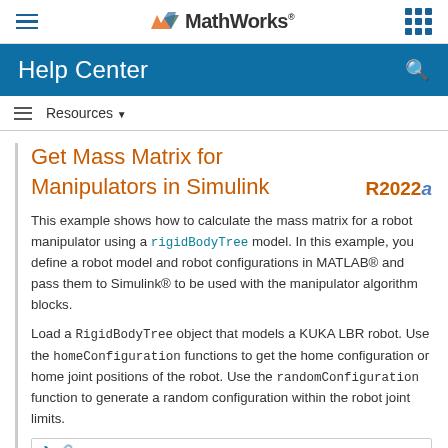MathWorks Help Center
Get Mass Matrix for Manipulators in Simulink R2022a
This example shows how to calculate the mass matrix for a robot manipulator using a rigidBodyTree model. In this example, you define a robot model and robot configurations in MATLAB® and pass them to Simulink® to be used with the manipulator algorithm blocks.
Load a RigidBodyTree object that models a KUKA LBR robot. Use the homeConfiguration functions to get the home configuration or home joint positions of the robot. Use the randomConfiguration function to generate a random configuration within the robot joint limits.